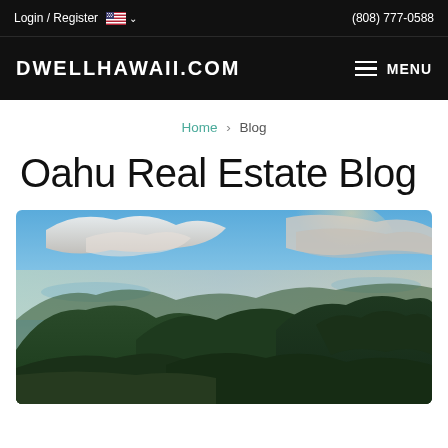Login / Register  (808) 777-0588
DWELLHAWAII.COM  MENU
Home > Blog
Oahu Real Estate Blog
[Figure (photo): Aerial panoramic view of the lush green mountains of Oahu, Hawaii, with dramatic clouds and ocean visible in the background.]